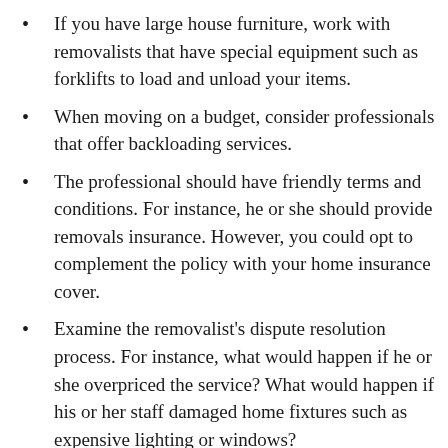If you have large house furniture, work with removalists that have special equipment such as forklifts to load and unload your items.
When moving on a budget, consider professionals that offer backloading services.
The professional should have friendly terms and conditions. For instance, he or she should provide removals insurance. However, you could opt to complement the policy with your home insurance cover.
Examine the removalist's dispute resolution process. For instance, what would happen if he or she overpriced the service? What would happen if his or her staff damaged home fixtures such as expensive lighting or windows?
Check the removalist's pricing policy. Most removalists will consider your household items and the distance you are moving when giving a quote. However, you will pay more if you need